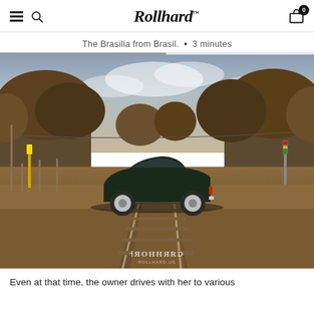Rollhard™ — navigation header with hamburger menu, search icon, logo, and cart icon with badge 0
The Brasilia from Brasil.  •  3 minutes
[Figure (photo): A dark-colored compact car (VW Brasilia) parked on railroad tracks, surrounded by trees with autumn/dry foliage under a cloudy sky. Warm brown tones. Rollhard watermark at the bottom center.]
Even at that time, the owner drives with her to various